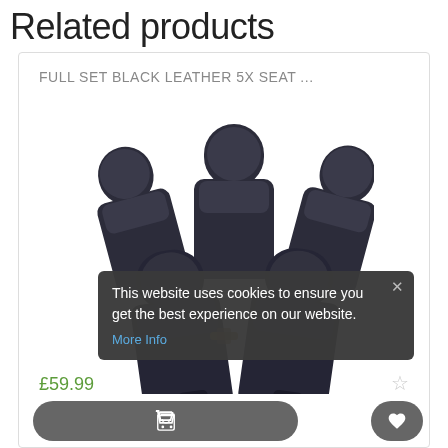Related products
FULL SET BLACK LEATHER 5X SEAT ...
[Figure (photo): A set of 5 black leather car seat covers arranged in a fan-like display showing two front seats and three rear seats]
£59.99
Cookie banner: This website uses cookies to ensure you get the best experience on our website. More Info